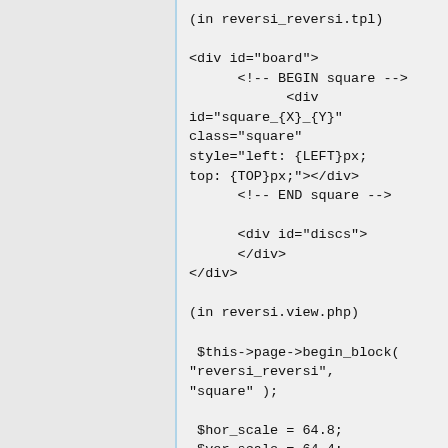(in reversi_reversi.tpl)

<div id="board">
      <!-- BEGIN square -->
            <div
id="square_{X}_{Y}"
class="square"
style="left: {LEFT}px;
top: {TOP}px;"></div>
      <!-- END square -->

      <div id="discs">
      </div>
</div>

(in reversi.view.php)

 $this->page->begin_block(
"reversi_reversi",
"square" );

 $hor_scale = 64.8;
 $ver_scale = 64.4;
 for( $x=1; $x<=8; $x++ )